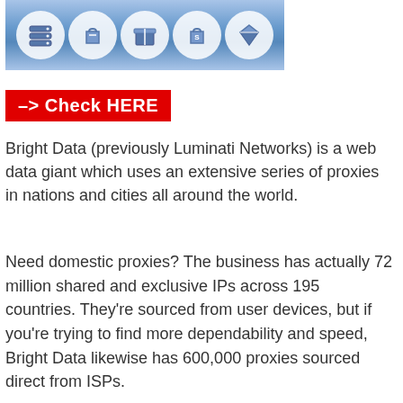[Figure (illustration): Header banner with blue gradient background containing five circular white icons: a server/database icon, a shopping bag icon, a blue box/package icon, a shopping bag with 's' label, and a diamond/gem icon]
-> Check HERE
Bright Data (previously Luminati Networks) is a web data giant which uses an extensive series of proxies in nations and cities all around the world.
Need domestic proxies? The business has actually 72 million shared and exclusive IPs across 195 countries. They're sourced from user devices, but if you're trying to find more dependability and speed, Bright Data likewise has 600,000 proxies sourced direct from ISPs.